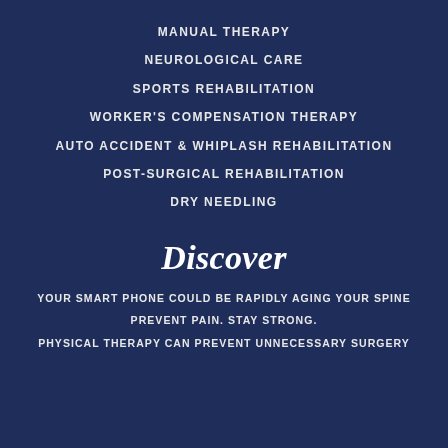MANUAL THERAPY
NEUROLOGICAL CARE
SPORTS REHABILITATION
WORKER'S COMPENSATION THERAPY
AUTO ACCIDENT & WHIPLASH REHABILITATION
POST-SURGICAL REHABILITATION
DRY NEEDLING
Discover
YOUR SMART PHONE COULD BE RAPIDLY AGING YOUR SPINE
PREVENT PAIN. STAY STRONG.
PHYSICAL THERAPY CAN PREVENT UNNECESSARY SURGERY